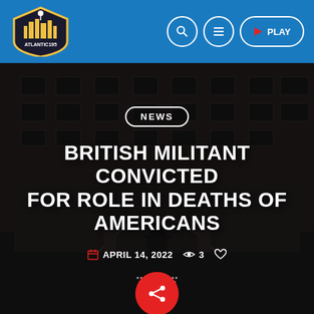Atlantic195 - NEWS - Navigation bar with search, menu, and PLAY buttons
[Figure (screenshot): Dark photo of a large brick building exterior at night, used as hero background]
NEWS
BRITISH MILITANT CONVICTED FOR ROLE IN DEATHS OF AMERICANS
APRIL 14, 2022  3